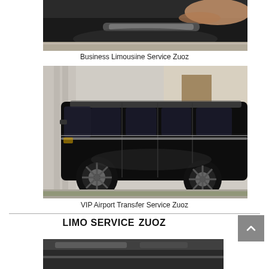[Figure (photo): Close-up photo of a person's hand operating a car door handle on a black luxury vehicle]
Business Limousine Service Zuoz
[Figure (photo): Side view of a large black Mercedes-Benz V-Class luxury van parked in front of a building with columns]
VIP Airport Transfer Service Zuoz
LIMO SERVICE ZUOZ
[Figure (photo): Partial view of a luxury vehicle interior or exterior, bottom of page]